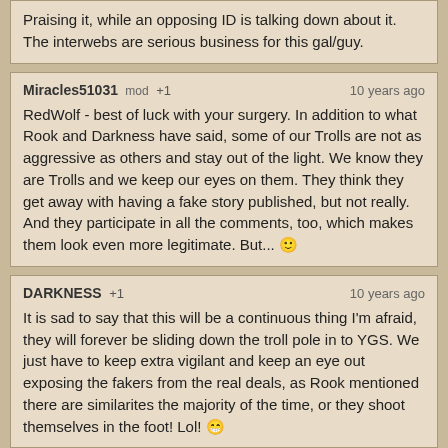Praising it, while an opposing ID is talking down about it. The interwebs are serious business for this gal/guy.
Miracles51031 mod +1 — 10 years ago
RedWolf - best of luck with your surgery. In addition to what Rook and Darkness have said, some of our Trolls are not as aggressive as others and stay out of the light. We know they are Trolls and we keep our eyes on them. They think they get away with having a fake story published, but not really. And they participate in all the comments, too, which makes them look even more legitimate. But... 🙂
DARKNESS +1 — 10 years ago
It is sad to say that this will be a continuous thing I'm afraid, they will forever be sliding down the troll pole in to YGS. We just have to keep extra vigilant and keep an eye out exposing the fakers from the real deals, as Rook mentioned there are similarites the majority of the time, or they shoot themselves in the foot! Lol! 😁
rookdygin +1 — 10 years ago